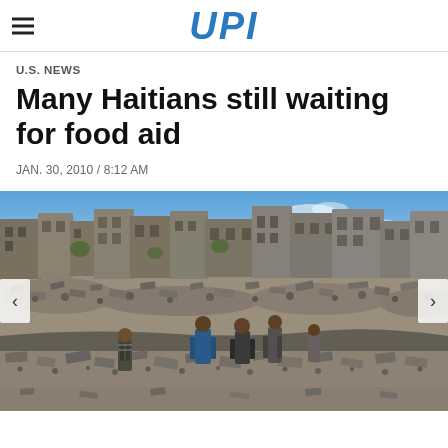UPI
U.S. NEWS
Many Haitians still waiting for food aid
JAN. 30, 2010 / 8:12 AM
[Figure (photo): Aerial/ground-level view of earthquake-devastated neighborhood in Haiti, with rubble-strewn landscape, damaged and destroyed concrete buildings, and several people standing and walking through the debris. Blue sky visible in background.]